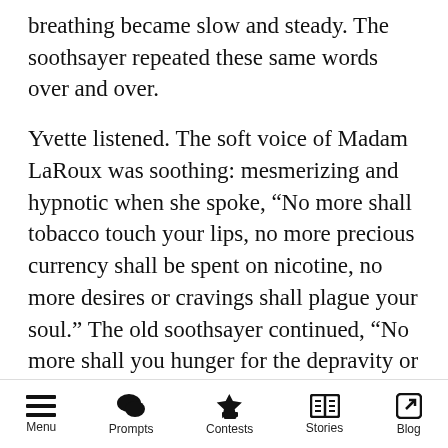breathing became slow and steady. The soothsayer repeated these same words over and over.
Yvette listened. The soft voice of Madam LaRoux was soothing: mesmerizing and hypnotic when she spoke, “No more shall tobacco touch your lips, no more precious currency shall be spent on nicotine, no more desires or cravings shall plague your soul.” The old soothsayer continued, “No more shall you hunger for the depravity or the vice of cigarettes.”
Several moments later, or it seemed like only moments, the old crone snapped her fingers and Yvette opened her eyes. She gazed down at her
Menu  Prompts  Contests  Stories  Blog